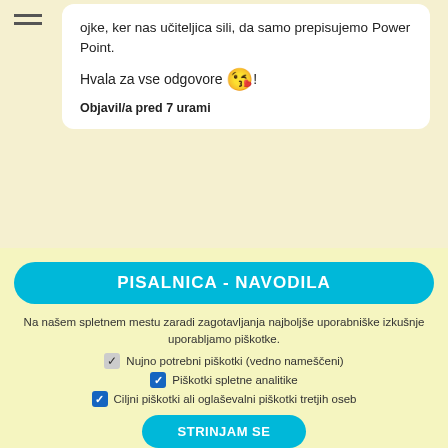ojke, ker nas učiteljica sili, da samo prepisujemo Power Point.
Hvala za vse odgovore 😘!
Objavil/a pred 7 urami
OBIŠČI IN ODGOVORI
PISALNICA - NAVODILA
Na našem spletnem mestu zaradi zagotavljanja najboljše uporabniške izkušnje uporabljamo piškotke.
Nujno potrebni piškotki (vedno nameščeni)
Piškotki spletne analitike
Ciljni piškotki ali oglaševalni piškotki tretjih oseb
STRINJAM SE